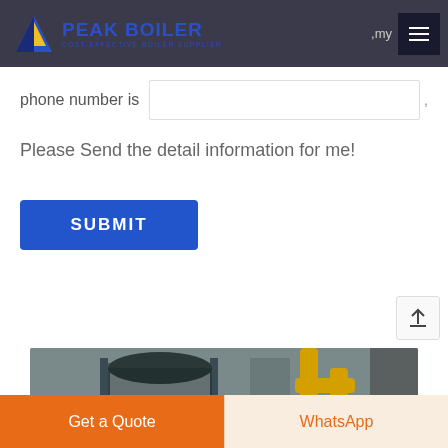[Figure (logo): Peak Boiler logo with blue stylized flame/arrow icon and text 'PEAK BOILER - COST-EFFECTIVE BOILER SUPPLIER' on dark header background]
phone number is
Please Send the detail information for me!
SUBMIT
[Figure (photo): Industrial boiler installation photo showing large cylindrical boiler equipment with yellow pipes in a factory setting]
Get a Quote
WhatsApp